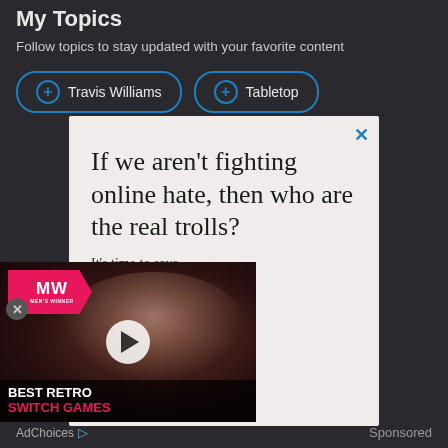My Topics
Follow topics to stay updated with your favorite content
+ Travis Williams
+ Tabletop
[Figure (screenshot): Advertisement panel with white/light background. Headline text in serif font: 'If we aren’t fighting online hate, then who are the real trolls?' with partial subtext 'It’s time to save...ion.' A close (x) button in blue top right.]
[Figure (screenshot): Video advertisement overlay for MWatch (MW logo in pink/red). Shows animated characters. Text: 'BEST RETRO SWITCH GAMES' with play button in center. Pink MW logo top left.]
AdChoices
Sponsored